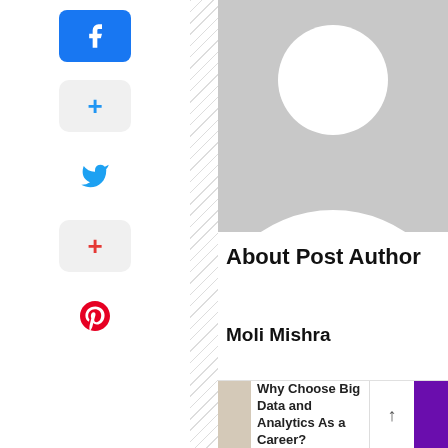[Figure (illustration): Default user avatar placeholder — grey silhouette of a person (head and shoulders) on grey background]
About Post Author
Moli Mishra
[Figure (photo): Hand holding a pen over charts and analytics graphs, representing big data analytics career]
Why Choose Big Data and Analytics As a Career?